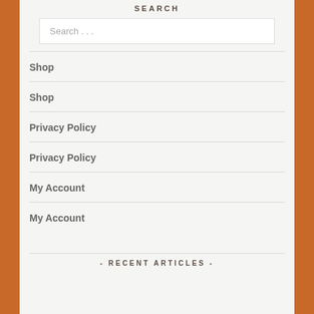SEARCH
Search . . .
Shop
Shop
Privacy Policy
Privacy Policy
My Account
My Account
- RECENT ARTICLES -